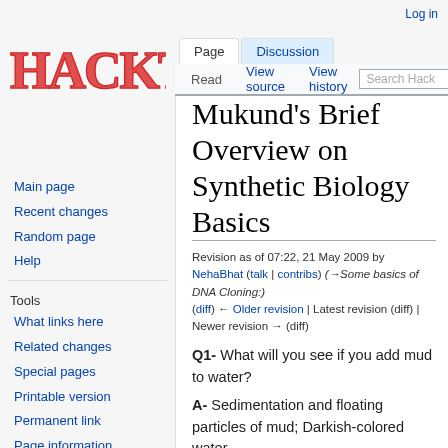Log in
[Figure (logo): Hackeria wiki logo in red/dark handwritten style text reading HACKTERIA]
Page | Discussion | Read | View source | View history | Search Hack
Main page
Recent changes
Random page
Help
Tools
What links here
Related changes
Special pages
Printable version
Permanent link
Page information
Mukund's Brief Overview on Synthetic Biology Basics
Revision as of 07:22, 21 May 2009 by NehaBhat (talk | contribs) (→Some basics of DNA Cloning:)
(diff) ← Older revision | Latest revision (diff) | Newer revision → (diff)
Q1- What will you see if you add mud to water?
A- Sedimentation and floating particles of mud; Darkish-colored water